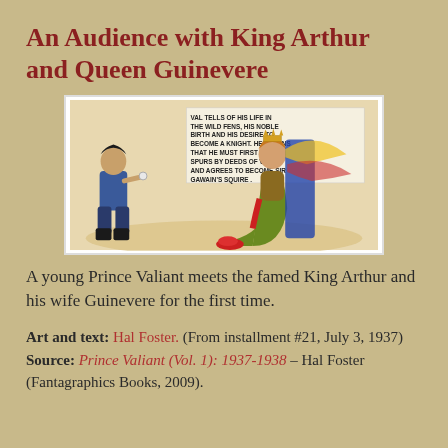An Audience with King Arthur and Queen Guinevere
[Figure (illustration): Comic strip panel showing a young Prince Valiant kneeling before Queen Guinevere who is seated, with caption text reading: 'VAL TELLS OF HIS LIFE IN THE WILD FENS, HIS NOBLE BIRTH AND HIS DESIRE TO BECOME A KNIGHT. HE LEARNS THAT HE MUST FIRST WIN HIS SPURS BY DEEDS OF VALOR AND AGREES TO BECOME SIR GAWAIN'S SQUIRE.']
A young Prince Valiant meets the famed King Arthur and his wife Guinevere for the first time.
Art and text: Hal Foster. (From installment #21, July 3, 1937)
Source: Prince Valiant (Vol. 1): 1937-1938 – Hal Foster (Fantagraphics Books, 2009).